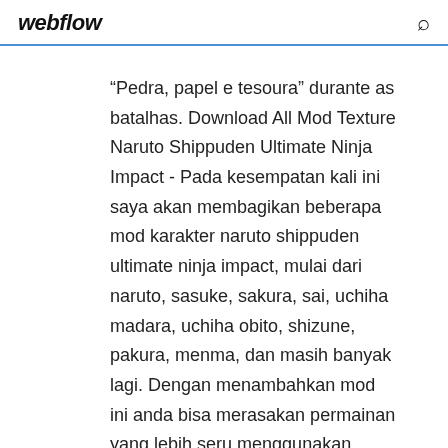webflow
“Pedra, papel e tesoura” durante as batalhas. Download All Mod Texture Naruto Shippuden Ultimate Ninja Impact - Pada kesempatan kali ini saya akan membagikan beberapa mod karakter naruto shippuden ultimate ninja impact, mulai dari naruto, sasuke, sakura, sai, uchiha madara, uchiha obito, shizune, pakura, menma, dan masih banyak lagi. Dengan menambahkan mod ini anda bisa merasakan permainan yang lebih seru menggunakan karakter yang ...